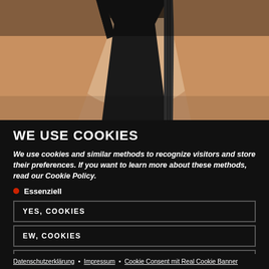[Figure (photo): Partial view of a person's torso wearing a dark sleeveless top, warm skin tones, dimly lit background]
WE USE COOKIES
We use cookies and similar methods to recognize visitors and store their preferences. If you want to learn more about these methods, read our Cookie Policy.
Essenziell
YES, COOKIES
EW, COOKIES
PREFERENCES
Datenschutzerklärung • Impressum • Cookie Consent mit Real Cookie Banner